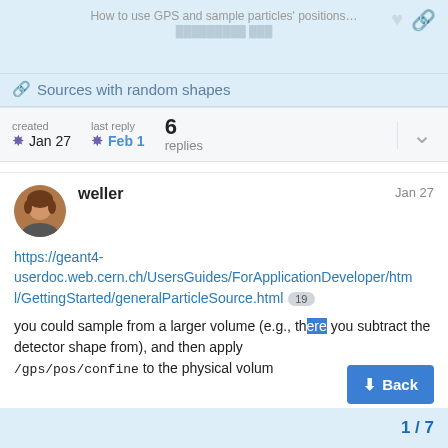How to use GPS and sample particles' positions...
Sources with random shapes
created Jan 27   last reply Feb 1   6 replies
weller   Jan 27
https://geant4-userdoc.web.cern.ch/UsersGuides/ForApplicationDeveloper/html/GettingStarted/generalParticleSource.html 19
you could sample from a larger volume (e.g., the sphere where you subtract the detector shape from), and then apply /gps/pos/confine to the physical volum
1 / 7